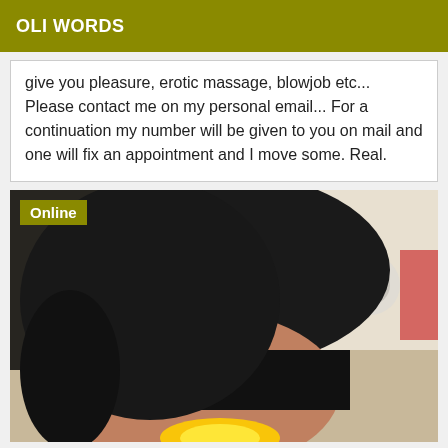OLI WORDS
give you pleasure, erotic massage, blowjob etc... Please contact me on my personal email... For a continuation my number will be given to you on mail and one will fix an appointment and I move some. Real.
[Figure (photo): A photograph showing a person in a black outfit photographed from behind/below, with a lamp visible in the background. An 'Online' badge is overlaid in the top-left corner.]